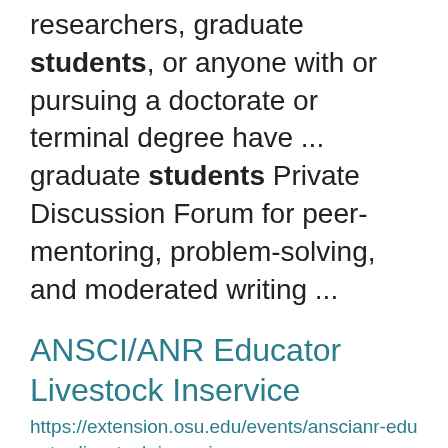researchers, graduate students, or anyone with or pursuing a doctorate or terminal degree have ... graduate students Private Discussion Forum for peer-mentoring, problem-solving, and moderated writing ...
ANSCI/ANR Educator Livestock Inservice
https://extension.osu.edu/events/anscianr-educator-livestock-inservice
meat lab as well as visit with faculty and staff. To add more value to the program, we ask that you ...
Induction and Farmland: Hist...